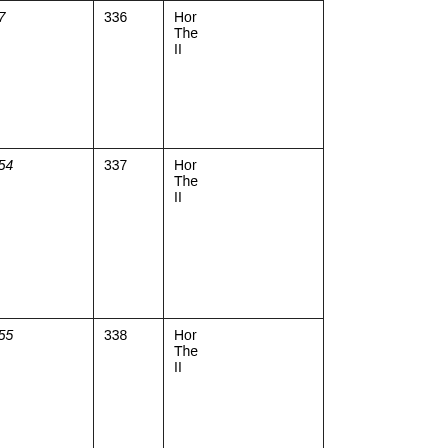| No./Date | CT Reference | Page | Destination |
| --- | --- | --- | --- |
| 413
Mar 29 | CT 16.6.7 | 336 | Hor The II |
| 414
June 17 | CT 16.5.54 | 337 | Hor The II |
| 414
Aug 30 | CT 16.5.55 | 338 | Hor The II |
| 415
Aug 25 | CT 16.5.56 | 339 | Hor The II |